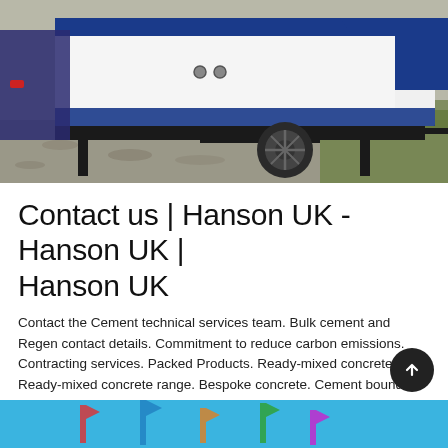[Figure (photo): A white and blue cement/construction truck trailer on a gravel surface, with black metal supports and a wheel visible. Grass visible in background.]
Contact us | Hanson UK - Hanson UK | Hanson UK
Contact the Cement technical services team. Bulk cement and Regen contact details. Commitment to reduce carbon emissions. Contracting services. Packed Products. Ready-mixed concrete. Ready-mixed concrete range. Bespoke concrete. Cement bound sand.
Learn More
[Figure (photo): Partial bottom strip showing blue background with colorful flags or banners visible at the bottom of the page.]